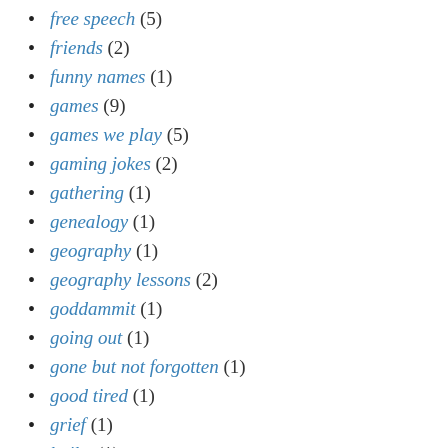free speech (5)
friends (2)
funny names (1)
games (9)
games we play (5)
gaming jokes (2)
gathering (1)
genealogy (1)
geography (1)
geography lessons (2)
goddammit (1)
going out (1)
gone but not forgotten (1)
good tired (1)
grief (1)
haiku (1)